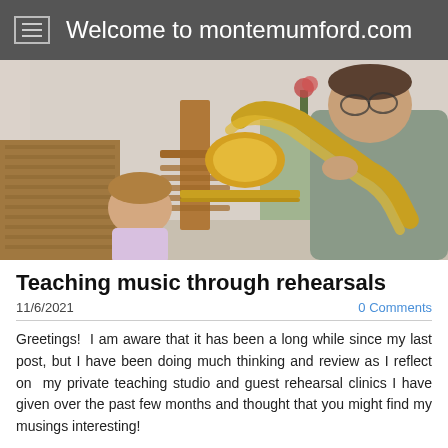Welcome to montemumford.com
[Figure (photo): A man playing a trombone leaning over toward a young child seated at a wooden table indoors. The man is wearing a grey shirt and glasses. The child looks up at the trombone.]
Teaching music through rehearsals
11/6/2021    0 Comments
Greetings!  I am aware that it has been a long while since my last post, but I have been doing much thinking and review as I reflect on  my private teaching studio and guest rehearsal clinics I have given over the past few months and thought that you might find my musings interesting!